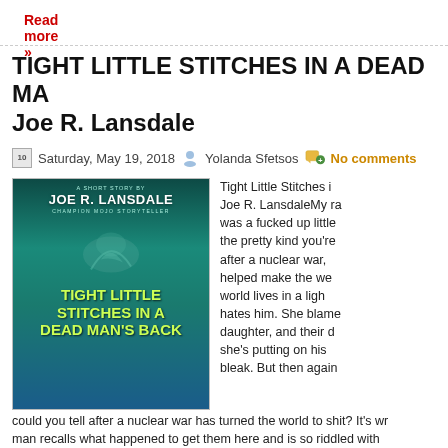Read more »
TIGHT LITTLE STITCHES IN A DEAD MAN'S BACK by Joe R. Lansdale
Saturday, May 19, 2018  Yolanda Sfetsos  No comments
[Figure (photo): Book cover for 'Tight Little Stitches in a Dead Man's Back' by Joe R. Lansdale, Champion Mojo Storyteller. Teal/blue-green cover with the title in large yellow-green text.]
Tight Little Stitches in a Dead Man's Back by Joe R. LansdaleMy ra... was a fucked up little... the pretty kind you're... after a nuclear war,... helped make the we... world lives in a ligh... hates him. She blame... daughter, and their d... she's putting on his... bleak. But then again... could you tell after a nuclear war has turned the world to shit? It's wr... man recalls what happened to get them here and is so riddled with... going insane and is continually...